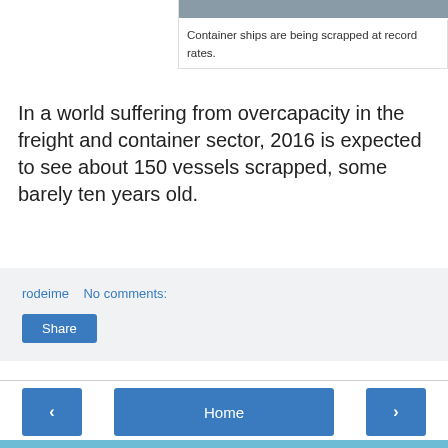[Figure (photo): Top portion of a container ship image, partially visible at the top of the page with a photo credit on the right]
Container ships are being scrapped at record rates.
In a world suffering from overcapacity in the freight and container sector, 2016 is expected to see about 150 vessels scrapped, some barely ten years old.
rodeime   No comments:
Share
‹   Home   ›
View web version
Powered by Blogger.